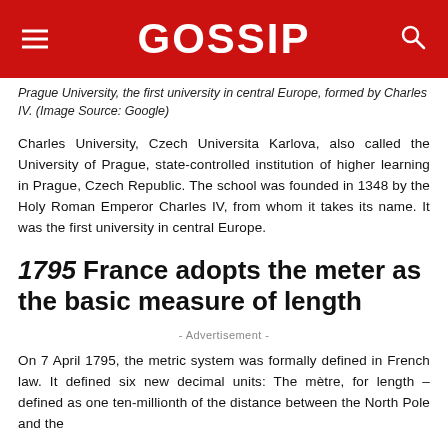GOSSIP
Prague University, the first university in central Europe, formed by Charles IV. (Image Source: Google)
Charles University, Czech Universita Karlova, also called the University of Prague, state-controlled institution of higher learning in Prague, Czech Republic. The school was founded in 1348 by the Holy Roman Emperor Charles IV, from whom it takes its name. It was the first university in central Europe.
1795 France adopts the meter as the basic measure of length
- Advertisement -
On 7 April 1795, the metric system was formally defined in French law. It defined six new decimal units: The mètre, for length – defined as one ten-millionth of the distance between the North Pole and the